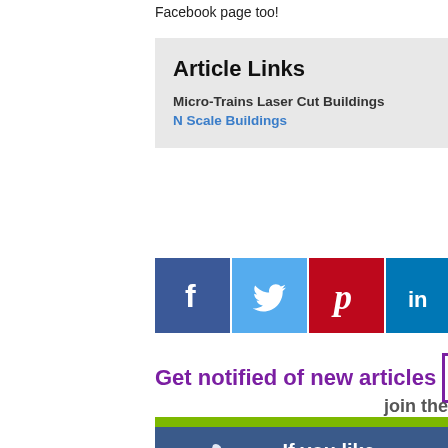Facebook page too!
Article Links
Micro-Trains Laser Cut Buildings
N Scale Buildings
[Figure (infographic): Row of social media share buttons: Facebook (blue, f logo), Twitter (light blue, bird logo), Pinterest (red, P logo), LinkedIn (teal, in logo)]
[Figure (infographic): Get notified of new articles promotional banner with purple text and checkbox icon, join the text below]
[Figure (infographic): Facebook like banner - dark blue background with thumbs up icon and text 'If you like click he over on Face']